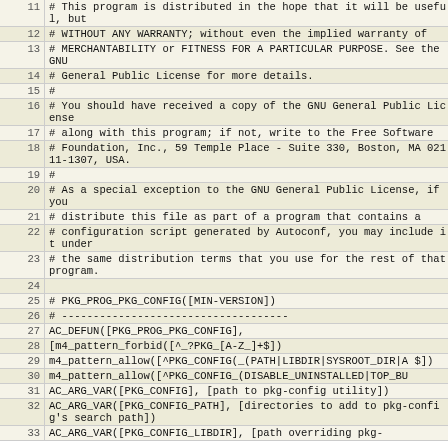| line | code |
| --- | --- |
| 11 | # This program is distributed in the hope that it will be useful, but |
| 12 | # WITHOUT ANY WARRANTY; without even the implied warranty of |
| 13 | # MERCHANTABILITY or FITNESS FOR A PARTICULAR PURPOSE. See the GNU |
| 14 | # General Public License for more details. |
| 15 | # |
| 16 | # You should have received a copy of the GNU General Public License |
| 17 | # along with this program; if not, write to the Free Software |
| 18 | # Foundation, Inc., 59 Temple Place - Suite 330, Boston, MA 02111-1307, USA. |
| 19 | # |
| 20 | # As a special exception to the GNU General Public License, if you |
| 21 | # distribute this file as part of a program that contains a |
| 22 | # configuration script generated by Autoconf, you may include it under |
| 23 | # the same distribution terms that you use for the rest of that program. |
| 24 |  |
| 25 | # PKG_PROG_PKG_CONFIG([MIN-VERSION]) |
| 26 | # ------------------------------------ |
| 27 | AC_DEFUN([PKG_PROG_PKG_CONFIG], |
| 28 | [m4_pattern_forbid([^_?PKG_[A-Z_]+$]) |
| 29 | m4_pattern_allow([^PKG_CONFIG(_(PATH|LIBDIR|SYSROOT_DIR|A $]) |
| 30 | m4_pattern_allow([^PKG_CONFIG_(DISABLE_UNINSTALLED|TOP_BU |
| 31 | AC_ARG_VAR([PKG_CONFIG], [path to pkg-config utility]) |
| 32 | AC_ARG_VAR([PKG_CONFIG_PATH], [directories to add to pkg-config's search path]) |
| 33 | AC_ARG_VAR([PKG_CONFIG_LIBDIR], [path overriding pkg- |